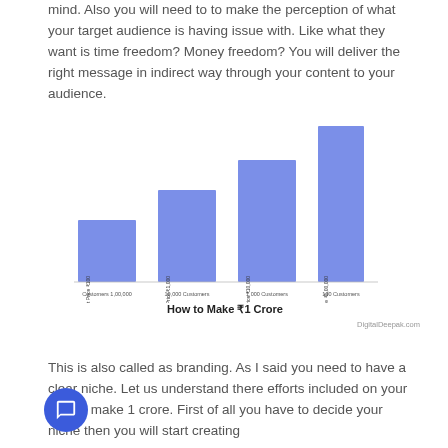mind. Also you will need to to make the perception of what your target audience is having issue with. Like what they want is time freedom? Money freedom? You will deliver the right message in indirect way through your content to your audience.
[Figure (bar-chart): How to Make ₹1 Crore]
How to Make ₹1 Crore
DigitalDeepak.com
This is also called as branding. As I said you need to have a clear niche. Let us understand there efforts included on your way to make 1 crore. First of all you have to decide your niche then you will start creating